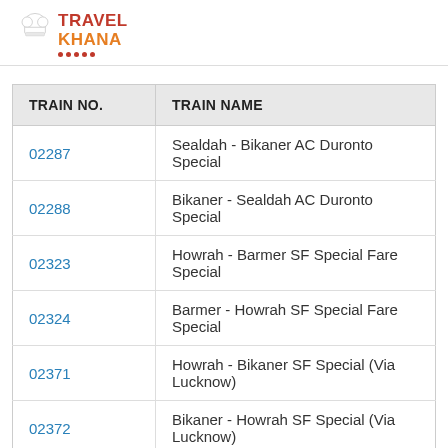[Figure (logo): TravelKhana logo with chef hat icon, red TRAVEL text and orange KHANA text with red dots underline]
| TRAIN NO. | TRAIN NAME |
| --- | --- |
| 02287 | Sealdah - Bikaner AC Duronto Special |
| 02288 | Bikaner - Sealdah AC Duronto Special |
| 02323 | Howrah - Barmer SF Special Fare Special |
| 02324 | Barmer - Howrah SF Special Fare Special |
| 02371 | Howrah - Bikaner SF Special (Via Lucknow) |
| 02372 | Bikaner - Howrah SF Special (Via Lucknow) |
| 02443 | Salasar SF Special |